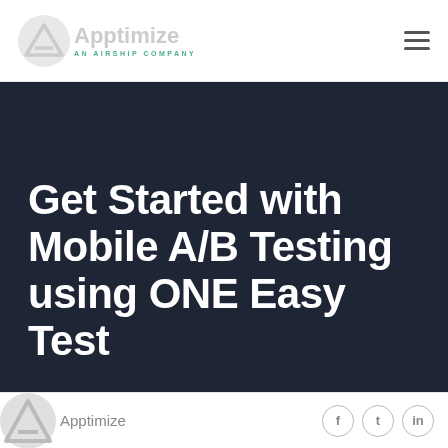Apptimize — AN AIRSHIP COMPANY
Get Started with Mobile A/B Testing using ONE Easy Test
Apptimize